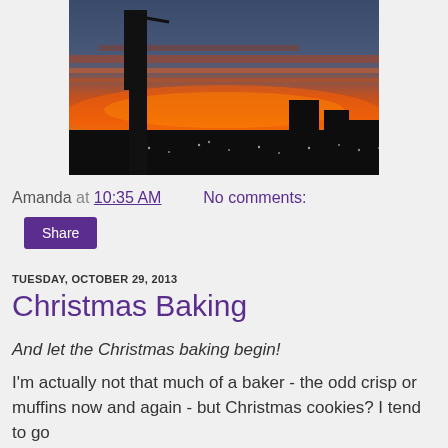[Figure (photo): Sunset cityscape photo showing silhouetted buildings against a vivid orange and red sky]
Amanda at 10:35 AM    No comments:
Share
TUESDAY, OCTOBER 29, 2013
Christmas Baking
And let the Christmas baking begin!
I'm actually not that much of a baker - the odd crisp or muffins now and again - but Christmas cookies? I tend to go